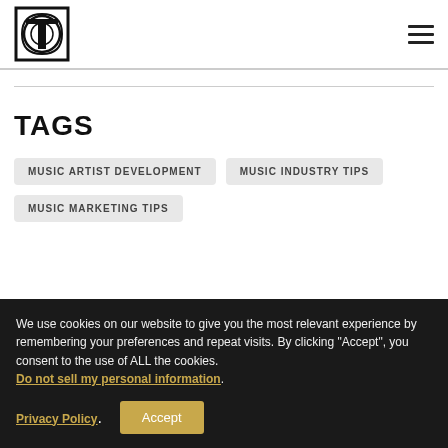[Logo] [Hamburger menu]
TAGS
MUSIC ARTIST DEVELOPMENT
MUSIC INDUSTRY TIPS
MUSIC MARKETING TIPS
We use cookies on our website to give you the most relevant experience by remembering your preferences and repeat visits. By clicking “Accept”, you consent to the use of ALL the cookies. Do not sell my personal information.
Privacy Policy | Accept